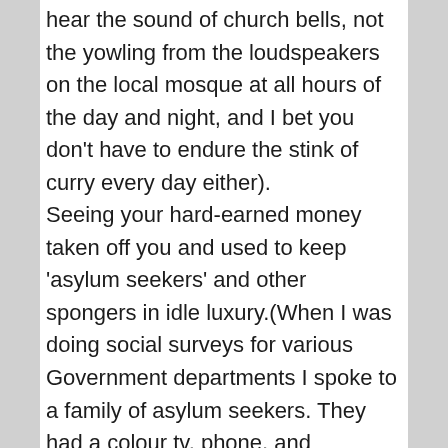hear the sound of church bells, not the yowling from the loudspeakers on the local mosque at all hours of the day and night, and I bet you don't have to endure the stink of curry every day either). Seeing your hard-earned money taken off you and used to keep 'asylum seekers' and other spongers in idle luxury.(When I was doing social surveys for various Government departments I spoke to a family of asylum seekers. They had a colour tv, phone, and computer,all free. The kids even had a Playstation! By all means give them food and
Advertisements